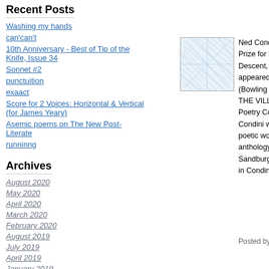Recent Posts
Washing my hands
can'can't
10th Anniversary - Best of Tip of the Knife, Issue 34
Sonnet #2
punctuition
exaact
Score for 2 Voices: Horizontal & Vertical (for James Yeary)
Asemic poems on The New Post-Literate
runninng
Archives
August 2020
May 2020
April 2020
March 2020
February 2020
August 2019
July 2019
April 2019
January 2019
November 2018
More...
[Figure (illustration): Abstract blue/white illustration with intersecting lines forming a network pattern]
Ned Condini, writer translator an Award for his versions of poet M Prize for his rendering of Jane Ta Raton, Florida, 2002). In 1972 G Descent, Turin, Italy. He was lite foreign correspondent for L’Avve appeared in TRANSLATION, Ne SCHOONER (Nebraska), THE P (Bowling Green, Ohio), NEGAT AMERICANA (Rhode Island), Y THE VILLAGE VOICE (New Yo ELDORADO. In November 200 Poetry Contest, New York. In Se selection of Giorgio Caproni’s po Condini was awarded first prize i Asheville. In February 2008 Che poetic works, AWAKENINGS, a third novel, THE CAULDRON. an anthology of Modern and Con two calicoes, he lives in Western Sandburg’s home, Connemara. D long). Would you be interested in Condini
Posted by: Ned Condini | May 16, 2009